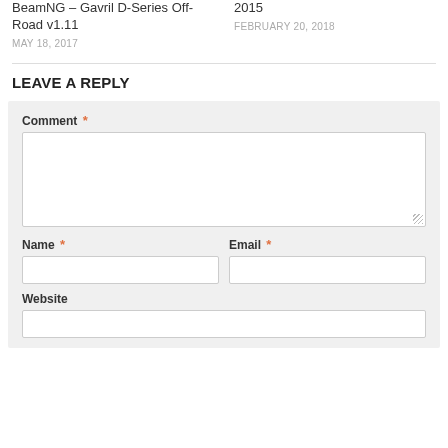BeamNG – Gavril D-Series Off-Road v1.11
MAY 18, 2017
2015
FEBRUARY 20, 2018
LEAVE A REPLY
Comment *
Name *
Email *
Website